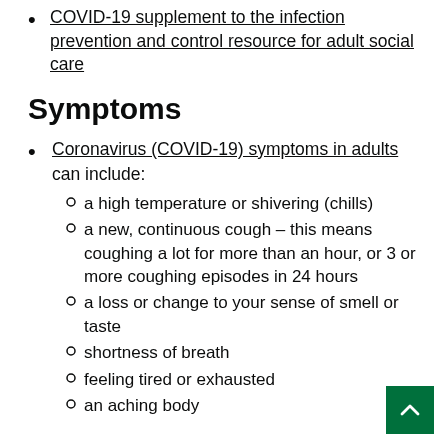COVID-19 supplement to the infection prevention and control resource for adult social care
Symptoms
Coronavirus (COVID-19) symptoms in adults can include:
a high temperature or shivering (chills)
a new, continuous cough – this means coughing a lot for more than an hour, or 3 or more coughing episodes in 24 hours
a loss or change to your sense of smell or taste
shortness of breath
feeling tired or exhausted
an aching body